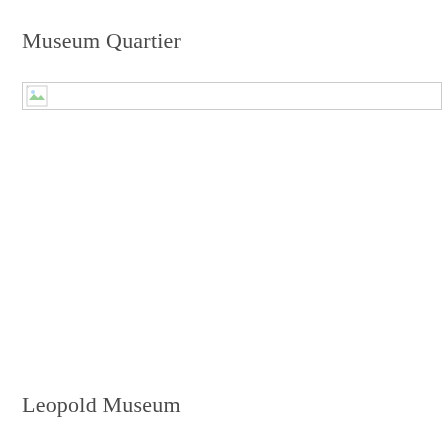Museum Quartier
[Figure (photo): Broken/unloaded image placeholder with small icon at top-left]
Leopold Museum